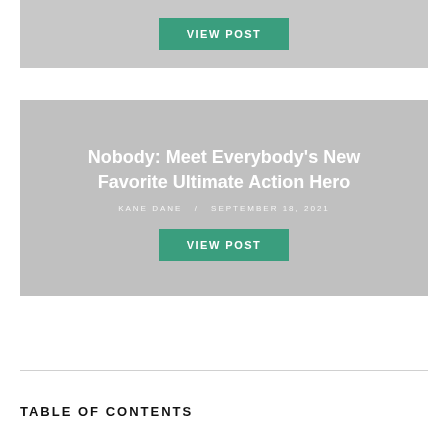[Figure (other): Gray card with VIEW POST button at top]
[Figure (other): Gray card with article thumbnail, title 'Nobody: Meet Everybody's New Favorite Ultimate Action Hero', byline 'KANE DANE / SEPTEMBER 18, 2021', and VIEW POST button]
TABLE OF CONTENTS